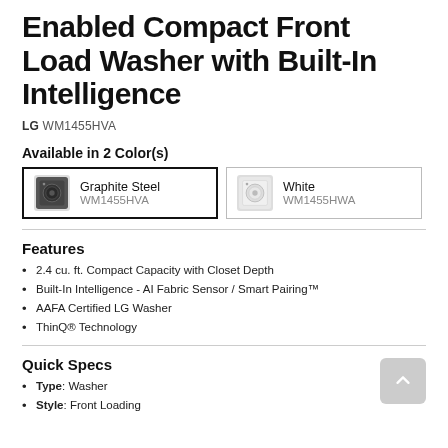Enabled Compact Front Load Washer with Built-In Intelligence
LG WM1455HVA
Available in 2 Color(s)
| Graphite Steel | WM1455HVA |
| White | WM1455HWA |
Features
2.4 cu. ft. Compact Capacity with Closet Depth
Built-In Intelligence - AI Fabric Sensor / Smart Pairing™
AAFA Certified LG Washer
ThinQ® Technology
Quick Specs
Type: Washer
Style: Front Loading